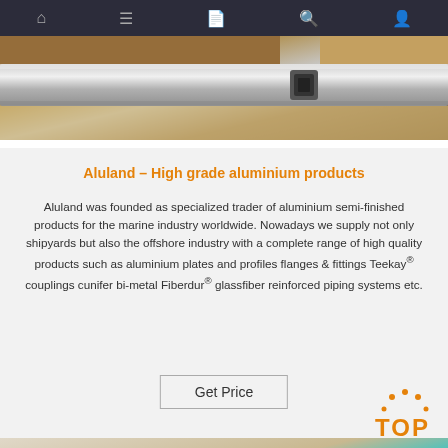Navigation bar with home, menu, card, search, and profile icons
[Figure (photo): Close-up photo of a metal band or strap clamp around a brown leather/wooden barrel surface on a wooden floor background]
Aluland – High grade aluminium products
Aluland was founded as specialized trader of aluminium semi-finished products for the marine industry worldwide. Nowadays we supply not only shipyards but also the offshore industry with a complete range of high quality products such as aluminium plates and profiles flanges & fittings Teekay® couplings cunifer bi-metal Fiberdur® glassfiber reinforced piping systems etc.
Get Price
[Figure (photo): Partial photo showing industrial/workshop scene with colorful materials including cyan/turquoise colored surface and a TOP badge overlay]